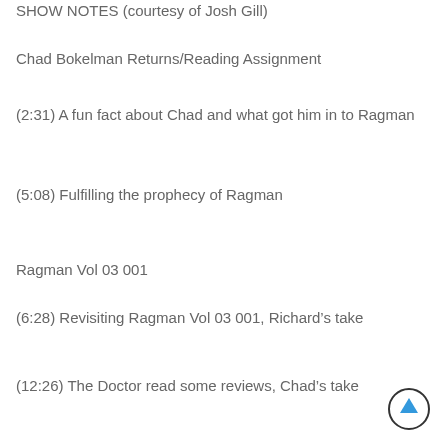SHOW NOTES (courtesy of Josh Gill)
Chad Bokelman Returns/Reading Assignment
(2:31) A fun fact about Chad and what got him in to Ragman
(5:08) Fulfilling the prophecy of Ragman
Ragman Vol 03 001
(6:28) Revisiting Ragman Vol 03 001, Richard’s take
(12:26) The Doctor read some reviews, Chad’s take